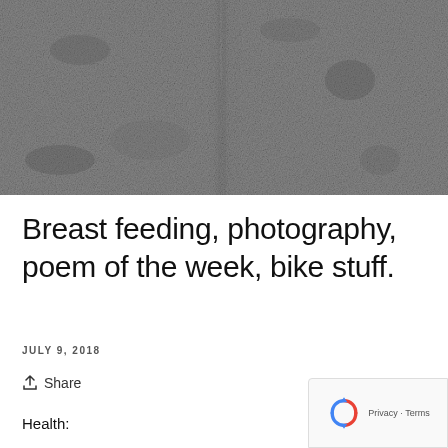[Figure (photo): Black and white grainy/noisy photograph showing a textured surface, possibly fabric or pavement with a central crease or line running vertically]
Breast feeding, photography, poem of the week, bike stuff.
JULY 9, 2018
Share
Health:
[Figure (other): Google reCAPTCHA badge showing the reCAPTCHA logo with Privacy and Terms links]